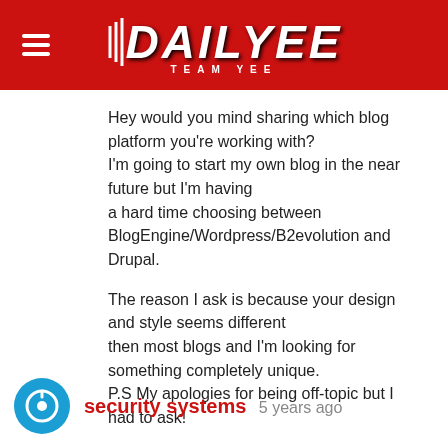DAILYEE TEAM YEE
Hey would you mind sharing which blog platform you're working with?
I'm going to start my own blog in the near future but I'm having
a hard time choosing between BlogEngine/Wordpress/B2evolution and Drupal.

The reason I ask is because your design and style seems different
then most blogs and I'm looking for something completely unique.
P.S My apologies for being off-topic but I had to ask!
Log in to Reply
security systems 5 years ago